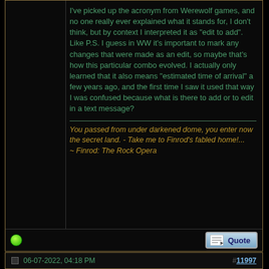I've picked up the acronym from Werewolf games, and no one really ever explained what it stands for, I don't think, but by context I interpreted it as "edit to add". Like P.S. I guess in WW it's important to mark any changes that were made as an edit, so maybe that's how this particular combo evolved. I actually only learned that it also means "estimated time of arrival" a few years ago, and the first time I saw it used that way I was confused because what is there to add or to edit in a text message?
You passed from under darkened dome, you enter now the secret land. - Take me to Finrod's fabled home!... ~ Finrod: The Rock Opera
06-07-2022, 04:18 PM
#11997